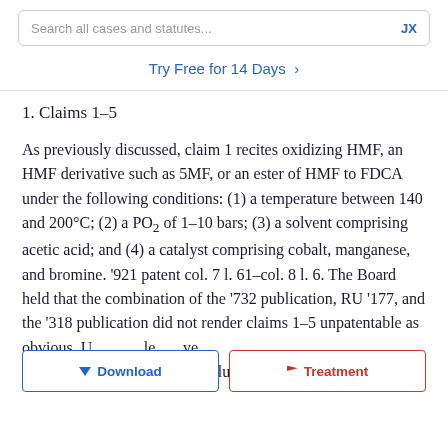Search all cases and statutes...   JX
Try Free for 14 Days >
1. Claims 1–5
As previously discussed, claim 1 recites oxidizing HMF, an HMF derivative such as 5MF, or an ester of HMF to FDCA under the following conditions: (1) a temperature between 140 and 200°C; (2) a PO₂ of 1–10 bars; (3) a solvent comprising acetic acid; and (4) a catalyst comprising cobalt, manganese, and bromine. '921 patent col. 7 l. 61–col. 8 l. 6. The Board held that the combination of the '732 publication, RU '177, and the '318 publication did not render claims 1–5 unpatentable as obvious. U[Download][Treatment]le ve disagree with the Board's conclusion, and reverse.